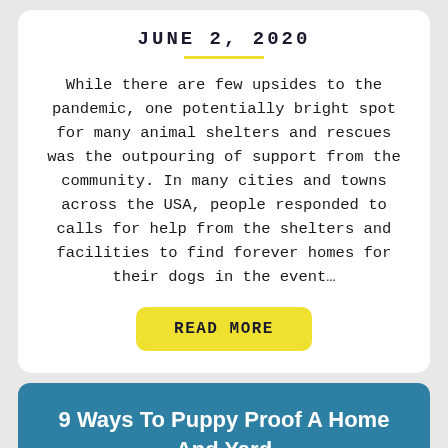JUNE 2, 2020
While there are few upsides to the pandemic, one potentially bright spot for many animal shelters and rescues was the outpouring of support from the community. In many cities and towns across the USA, people responded to calls for help from the shelters and facilities to find forever homes for their dogs in the event…
READ MORE
9 Ways To Puppy Proof A Home And Yard